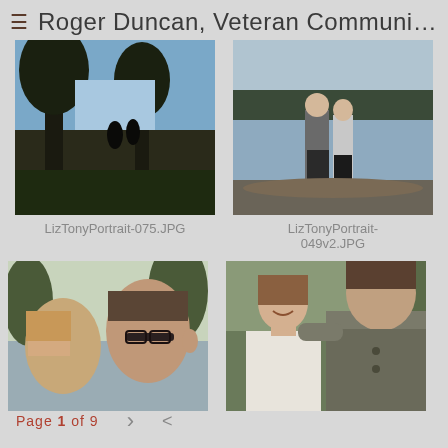≡  Roger Duncan, Veteran Communic...
[Figure (photo): Two people walking away through trees toward a coastal water view, silhouetted against a bright sky]
[Figure (photo): A couple standing together on rocks beside a lake or coastal area, wearing casual winter clothing]
LizTonyPortrait-075.JPG
LizTonyPortrait-
049v2.JPG
[Figure (photo): Close-up of a couple looking at each other, man wearing glasses, trees in background]
[Figure (photo): A smiling woman and man standing together outdoors with trees in background]
Page 1 of 9  >  <